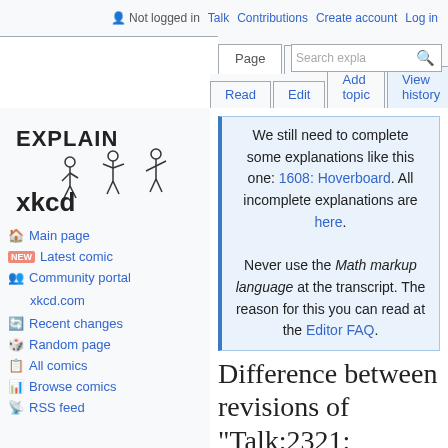Not logged in  Talk  Contributions  Create account  Log in
Page  Discussion  Read  Edit  Add topic  View history  Search expla
[Figure (logo): Explain xkcd logo with stick figures]
Main page
Latest comic
Community portal
xkcd.com
Recent changes
Random page
All comics
Browse comics
RSS feed
We still need to complete some explanations like this one: 1608: Hoverboard. All incomplete explanations are here.

Never use the Math markup language at the transcript. The reason for this you can read at the Editor FAQ.
Difference between revisions of "Talk:2321:...